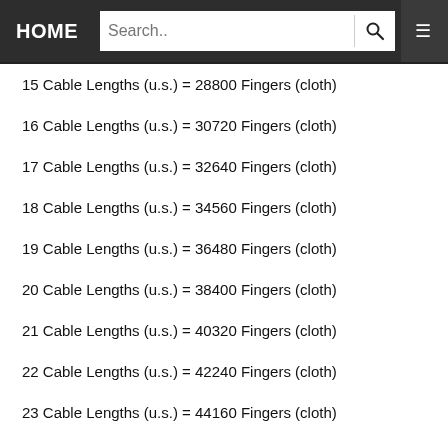HOME | Search..
15 Cable Lengths (u.s.) = 28800 Fingers (cloth)
16 Cable Lengths (u.s.) = 30720 Fingers (cloth)
17 Cable Lengths (u.s.) = 32640 Fingers (cloth)
18 Cable Lengths (u.s.) = 34560 Fingers (cloth)
19 Cable Lengths (u.s.) = 36480 Fingers (cloth)
20 Cable Lengths (u.s.) = 38400 Fingers (cloth)
21 Cable Lengths (u.s.) = 40320 Fingers (cloth)
22 Cable Lengths (u.s.) = 42240 Fingers (cloth)
23 Cable Lengths (u.s.) = 44160 Fingers (cloth)
24 Cable Lengths (u.s.) = 46080 Fingers (cloth)
25 Cable Lengths (u.s.) = 48000 Fingers (cloth)